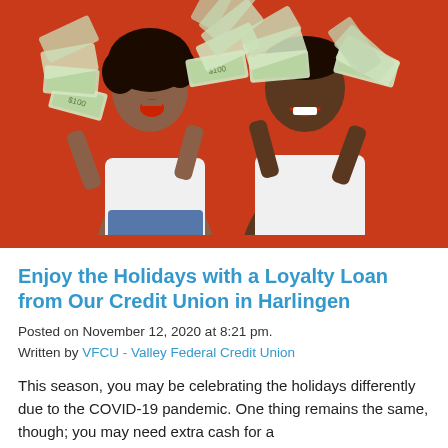[Figure (photo): Two people (a woman and a man) smiling and holding fans of $100 bills against an orange/red background. Both wearing white t-shirts.]
Enjoy the Holidays with a Loyalty Loan from Our Credit Union in Harlingen
Posted on November 12, 2020 at 8:21 pm.
Written by VFCU - Valley Federal Credit Union
This season, you may be celebrating the holidays differently due to the COVID-19 pandemic. One thing remains the same, though; you may need extra cash for a